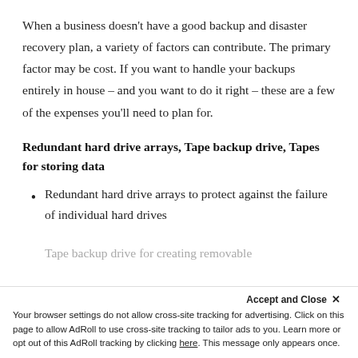When a business doesn't have a good backup and disaster recovery plan, a variety of factors can contribute. The primary factor may be cost. If you want to handle your backups entirely in house – and you want to do it right – these are a few of the expenses you'll need to plan for.
Redundant hard drive arrays, Tape backup drive, Tapes for storing data
Redundant hard drive arrays to protect against the failure of individual hard drives
Tape backup drive for creating removable...
...ideally one for...
Accept and Close ✕
Your browser settings do not allow cross-site tracking for advertising. Click on this page to allow AdRoll to use cross-site tracking to tailor ads to you. Learn more or opt out of this AdRoll tracking by clicking here. This message only appears once.